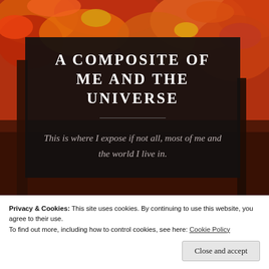[Figure (photo): Autumn background with red, orange, and yellow fall leaves on trees, ground covered with fallen leaves]
A COMPOSITE OF ME AND THE UNIVERSE
This is where I expose if not all, most of me and the world I live in.
Privacy & Cookies: This site uses cookies. By continuing to use this website, you agree to their use.
To find out more, including how to control cookies, see here: Cookie Policy
Close and accept